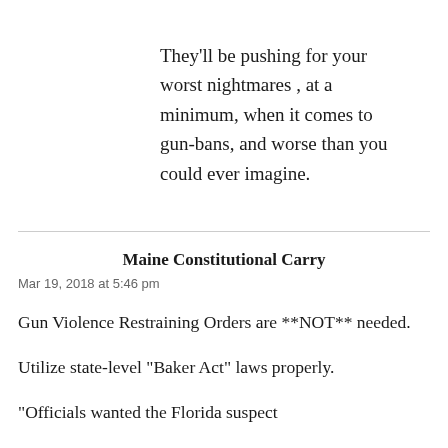They'll be pushing for your worst nightmares , at a minimum, when it comes to gun-bans, and worse than you could ever imagine.
Maine Constitutional Carry
Mar 19, 2018 at 5:46 pm
Gun Violence Restraining Orders are **NOT** needed.
Utilize state-level “Baker Act” laws properly.
“Officials wanted the Florida suspect